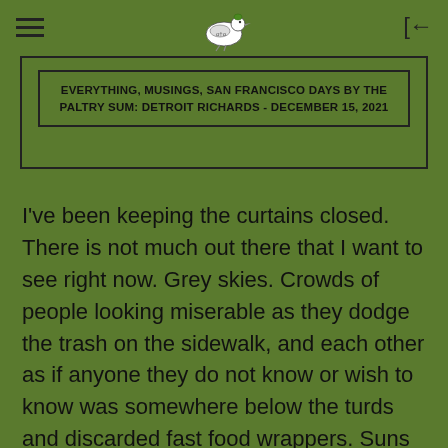EVERYTHING, MUSINGS, SAN FRANCISCO DAYS by THE PALTRY SUM: DETROIT RICHARDS - DECEMBER 15, 2021
I've been keeping the curtains closed. There is not much out there that I want to see right now. Grey skies. Crowds of people looking miserable as they dodge the trash on the sidewalk, and each other as if anyone they do not know or wish to know was somewhere below the turds and discarded fast food wrappers. Suns come up. Moons go down. The stars hide in floodlit skies.